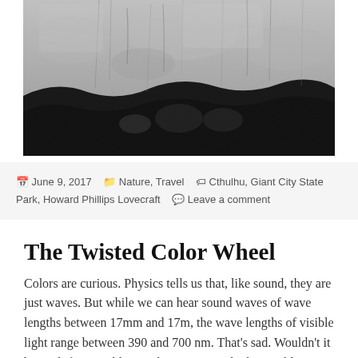[Figure (photo): Black and white photograph of rocky cliff face / cave ceiling with dark crevices and textured stone surface]
June 9, 2017  Nature, Travel  Cthulhu, Giant City State Park, Howard Phillips Lovecraft  Leave a comment
The Twisted Color Wheel
Colors are curious. Physics tells us that, like sound, they are just waves. But while we can hear sound waves of wave lengths between 17mm and 17m, the wave lengths of visible light range between 390 and 700 nm. That's sad. Wouldn't it be cool if we could see colors resonants by being able to see both red